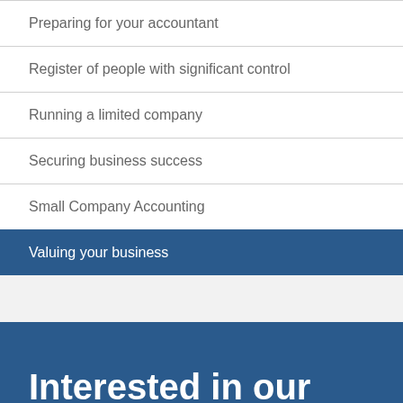Preparing for your accountant
Register of people with significant control
Running a limited company
Securing business success
Small Company Accounting
Valuing your business
Interested in our